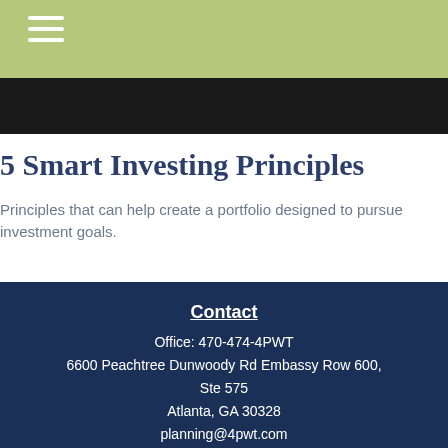[Figure (other): Green navigation header bar with hamburger menu icon (three white horizontal lines)]
[Figure (photo): Dark hero image strip at top of content area]
5 Smart Investing Principles
Principles that can help create a portfolio designed to pursue investment goals.
Contact
Office: 470-474-4PWT
6600 Peachtree Dunwoody Rd Embassy Row 600, Ste 575
Atlanta, GA 30328
planning@4pwt.com